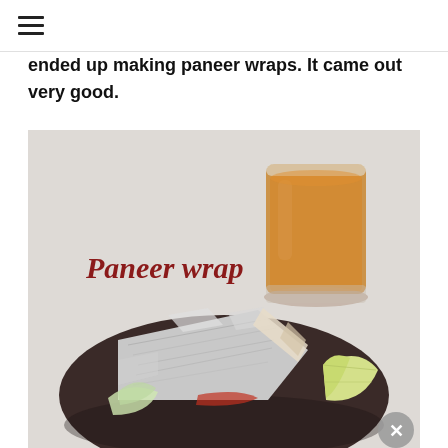≡
ended up making paneer wraps. It came out very good.
[Figure (photo): A paneer wrap in aluminum foil on a dark brown plate with a wedge of lemon/lime, alongside a glass of orange/amber juice on a light background. Text overlay reads 'Paneer wrap' in dark red serif italic font.]